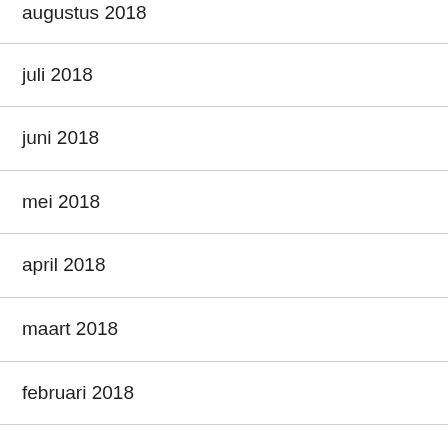augustus 2018
juli 2018
juni 2018
mei 2018
april 2018
maart 2018
februari 2018
januari 2018
december 2017
november 2017
oktober 2017